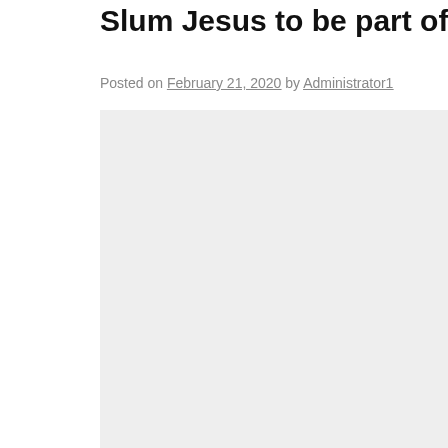Slum Jesus to be part of Rio de Janeiro's
Posted on February 21, 2020 by Administrator1
[Figure (photo): A large light gray rectangular placeholder image area below the article title and metadata]